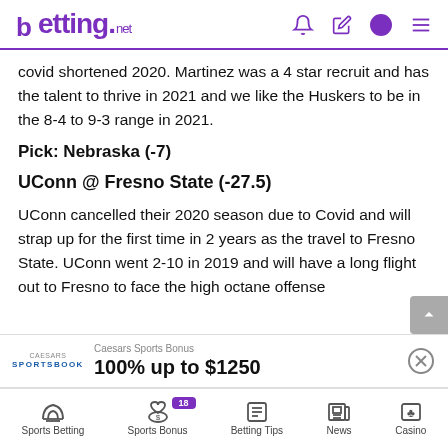betting.net
covid shortened 2020. Martinez was a 4 star recruit and has the talent to thrive in 2021 and we like the Huskers to be in the 8-4 to 9-3 range in 2021.
Pick: Nebraska (-7)
UConn @ Fresno State (-27.5)
UConn cancelled their 2020 season due to Covid and will strap up for the first time in 2 years as the travel to Fresno State. UConn went 2-10 in 2019 and will have a long flight out to Fresno to face the high octane offense
Caesars Sports Bonus
100% up to $1250
Sports Betting | Sports Bonus 18 | Betting Tips | News | Casino